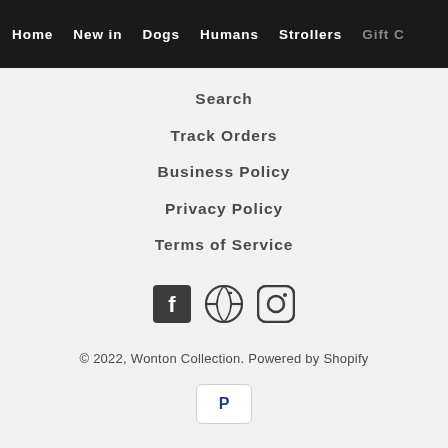Home  New in  Dogs  Humans  Strollers  Gift C
Search
Track Orders
Business Policy
Privacy Policy
Terms of Service
[Figure (illustration): Social media icons: Facebook, Pinterest, Instagram]
© 2022, Wonton Collection. Powered by Shopify
[Figure (logo): PayPal payment icon button]